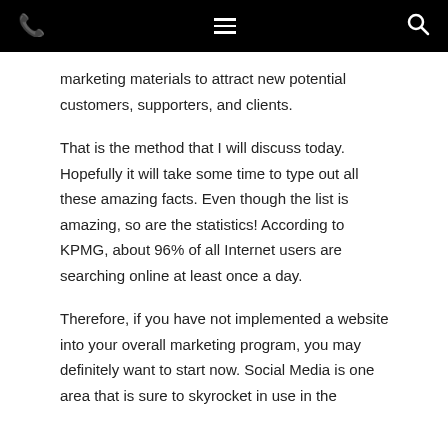[navigation bar with phone icon, menu icon, and search icon]
marketing materials to attract new potential customers, supporters, and clients.
That is the method that I will discuss today. Hopefully it will take some time to type out all these amazing facts. Even though the list is amazing, so are the statistics! According to KPMG, about 96% of all Internet users are searching online at least once a day.
Therefore, if you have not implemented a website into your overall marketing program, you may definitely want to start now. Social Media is one area that is sure to skyrocket in use in the